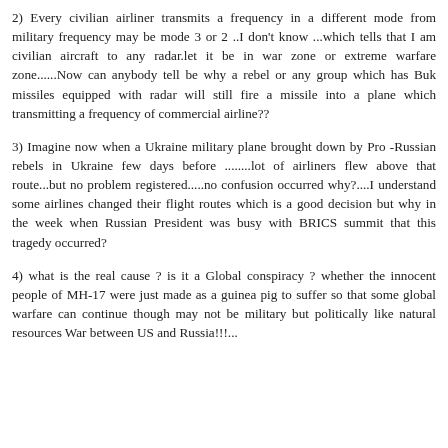2) Every civilian airliner transmits a frequency in a different mode from military frequency may be mode 3 or 2 ..I don't know ...which tells that I am civilian aircraft to any radar.let it be in war zone or extreme warfare zone......Now can anybody tell be why a rebel or any group which has Buk missiles equipped with radar will still fire a missile into a plane which transmitting a frequency of commercial airline??
3) Imagine now when a Ukraine military plane brought down by Pro -Russian rebels in Ukraine few days before ........lot of airliners flew above that route...but no problem registered.....no confusion occurred why?....I understand some airlines changed their flight routes which is a good decision but why in the week when Russian President was busy with BRICS summit that this tragedy occurred?
4) what is the real cause ? is it a Global conspiracy ? whether the innocent people of MH-17 were just made as a guinea pig to suffer so that some global warfare can continue though may not be military but politically like natural resources War between US and Russia!!!...